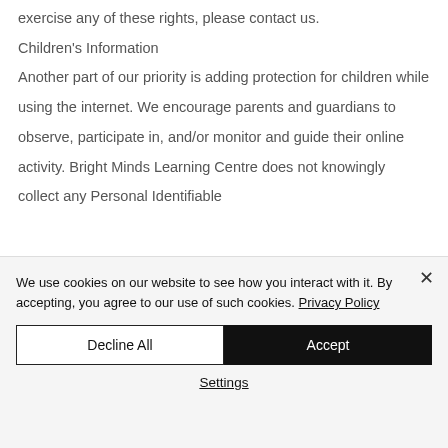exercise any of these rights, please contact us.
Children's Information
Another part of our priority is adding protection for children while using the internet. We encourage parents and guardians to observe, participate in, and/or monitor and guide their online activity. Bright Minds Learning Centre does not knowingly collect any Personal Identifiable
We use cookies on our website to see how you interact with it. By accepting, you agree to our use of such cookies. Privacy Policy
Decline All
Accept
Settings